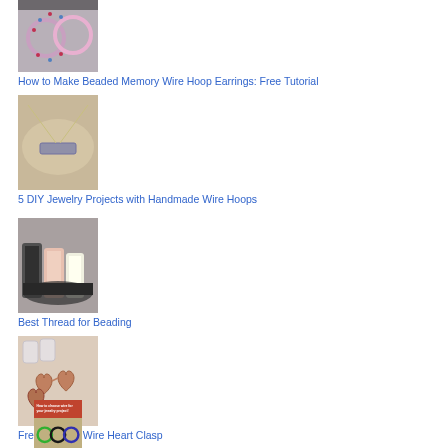[Figure (photo): Beaded memory wire hoop earrings - circular wire earrings with colorful beads]
How to Make Beaded Memory Wire Hoop Earrings: Free Tutorial
[Figure (photo): DIY jewelry with handmade wire hoops - necklace with bar pendant on stone background]
5 DIY Jewelry Projects with Handmade Wire Hoops
[Figure (photo): Spools of thread in various colors for beading]
Best Thread for Beading
[Figure (photo): Wire heart clasps - small copper heart shaped clasps on fabric background]
Free Tutorial: Wire Heart Clasp
[Figure (photo): How to choose wire for your jewelry project - wire spools with text overlay]